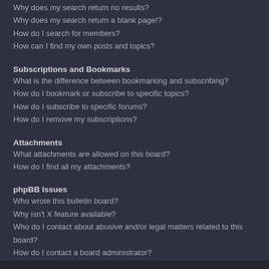Why does my search return no results?
Why does my search return a blank page!?
How do I search for members?
How can I find my own posts and topics?
Subscriptions and Bookmarks
What is the difference between bookmarking and subscribing?
How do I bookmark or subscribe to specific topics?
How do I subscribe to specific forums?
How do I remove my subscriptions?
Attachments
What attachments are allowed on this board?
How do I find all my attachments?
phpBB Issues
Who wrote this bulletin board?
Why isn't X feature available?
Who do I contact about abusive and/or legal matters related to this board?
How do I contact a board administrator?
Login and Registration Issues
Why do I need to register?
You may not have to, it is up to the administrator of the board as to whether you